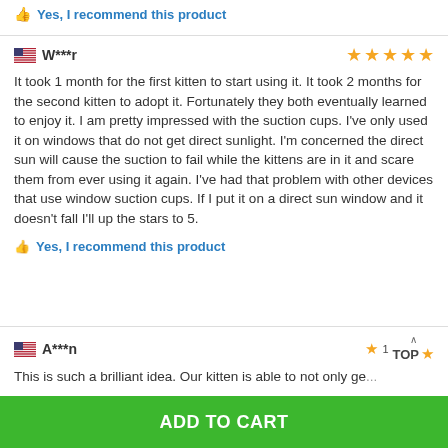Yes, I recommend this product
W***r
It took 1 month for the first kitten to start using it. It took 2 months for the second kitten to adopt it. Fortunately they both eventually learned to enjoy it. I am pretty impressed with the suction cups. I've only used it on windows that do not get direct sunlight. I'm concerned the direct sun will cause the suction to fail while the kittens are in it and scare them from ever using it again. I've had that problem with other devices that use window suction cups. If I put it on a direct sun window and it doesn't fall I'll up the stars to 5.
Yes, I recommend this product
A***n
This is such a brilliant idea. Our kitten is able to not only ge...
ADD TO CART